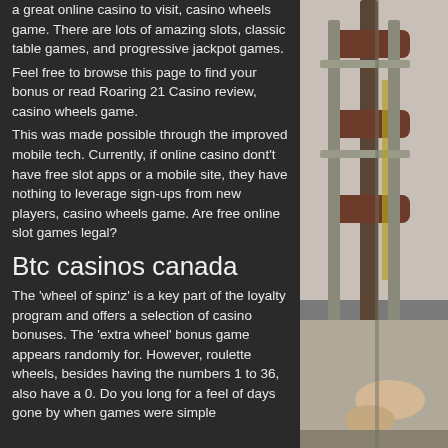a great online casino to visit, casino wheels game. There are lots of amazing slots, classic table games, and progressive jackpot games.
Feel free to browse this page to find your bonus or read Roaring 21 Casino review, casino wheels game.
This was made possible through the improved mobile tech. Currently, if online casino dont't have free slot apps or a mobile site, they have nothing to leverage sign-ups from new players, casino wheels game. Are free online slot games legal?
Btc casinos canada
The 'wheel of spinz' is a key part of the loyalty program and offers a selection of casino bonuses. The 'extra wheel' bonus game appears randomly for. However, roulette wheels, besides having the numbers 1 to 36, also have a 0. Do you long for a feel of days gone by when games were simple
[Figure (photo): Photo showing exercise/gym equipment, appears to be a weight bench or similar fitness apparatus with brown/dark upholstery, partially visible person]